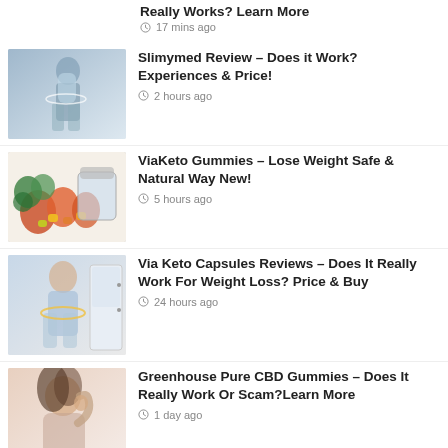Really Works? Learn More
17 mins ago
Slimymed Review – Does it Work? Experiences & Price!
2 hours ago
ViaKeto Gummies – Lose Weight Safe & Natural Way New!
5 hours ago
Via Keto Capsules Reviews – Does It Really Work For Weight Loss? Price & Buy
24 hours ago
Greenhouse Pure CBD Gummies – Does It Really Work Or Scam?Learn More
1 day ago